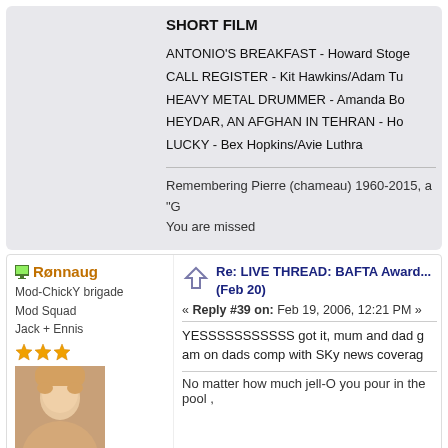SHORT FILM
ANTONIO'S BREAKFAST - Howard Stoge...
CALL REGISTER - Kit Hawkins/Adam Tu...
HEAVY METAL DRUMMER - Amanda Bo...
HEYDAR, AN AFGHAN IN TEHRAN - Ho...
LUCKY - Bex Hopkins/Avie Luthra
Remembering Pierre (chameau) 1960-2015, a "G...
You are missed
Rønnaug
Mod-ChickY brigade
Mod Squad
Jack + Ennis
Posts: 7546
Gender: ♀
Re: LIVE THREAD: BAFTA Award... (Feb 20)
« Reply #39 on: Feb 19, 2006, 12:21 PM »
YESSSSSSSSSSS got it, mum and dad g... am on dads comp with SKy news coverag...
No matter how much jell-O you pour in the pool ,